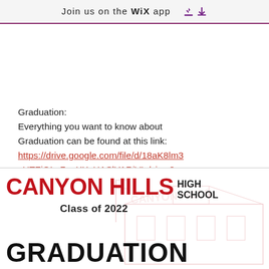Join us on the WiX app
Graduation:
Everything you want to know about Graduation can be found at this link:
https://drive.google.com/file/d/18aK8lm3xUTZiGL_7_eXXvHASlYARiVIy/view?usp=sharing
[Figure (logo): Canyon Hills High School Class of 2022 Graduation banner with red text and faded school building background]